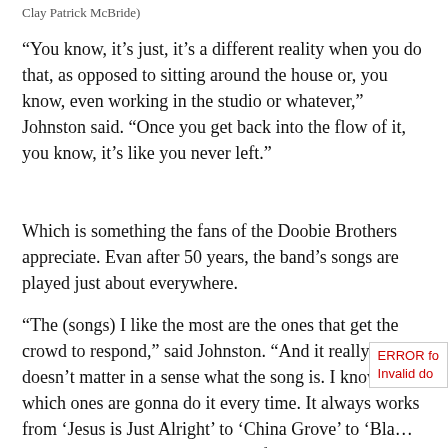Clay Patrick McBride)
“You know, it’s just, it’s a different reality when you do that, as opposed to sitting around the house or, you know, even working in the studio or whatever,” Johnston said. “Once you get back into the flow of it, you know, it’s like you never left.”
Which is something the fans of the Doobie Brothers appreciate. Evan after 50 years, the band’s songs are played just about everywhere.
“The (songs) I like the most are the ones that get the crowd to respond,” said Johnston. “And it really kind of doesn’t matter in a sense what the song is. I know which ones are gonna do it every time. It always works from ‘Jesus is Just Alright’ to ‘China Grove’ to ‘Bla… Water’ and the rest. That’s kind of like a high spot… the set because the crowd’s up and singing back to you